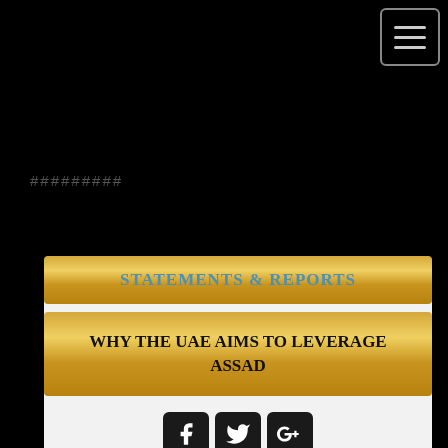[Figure (other): Hamburger menu button (three horizontal lines) with rounded border in top-right corner on black background]
#########
[Figure (infographic): White card on black background containing two gold gradient banners: top banner reads 'Statements & Reports' in teal uppercase text, second banner reads 'Why the UAE aims to leverage Assad' in bold uppercase black text, followed by social media icons for Facebook, Twitter, and Google+]